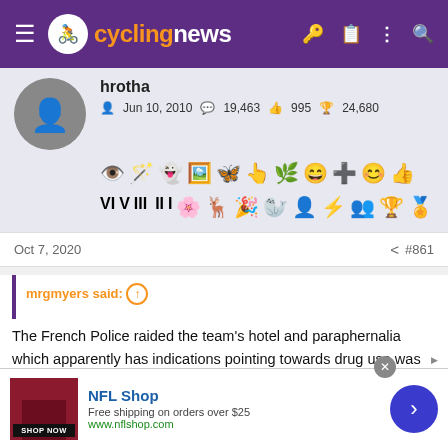cyclingnews
hrotha
Jun 10, 2010  19,463  995  24,680
[Figure (other): User badges and achievement icons row]
Oct 7, 2020   #861
mrgmyers said: ↑
The French Police raided the team's hotel and paraphernalia which apparently has indications pointing towards drug use was found Quintana and his brother were questioned I am astonished you had not heard.
[Figure (other): NFL Shop advertisement banner with shop now button]